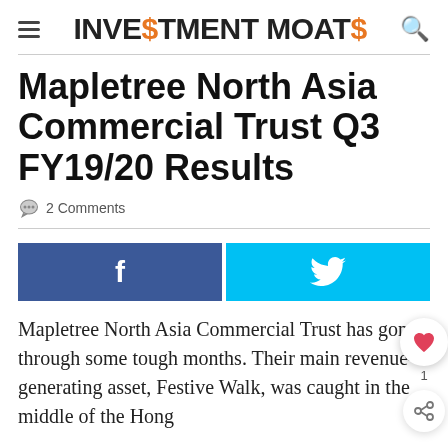INVESTMENT MOATS
Mapletree North Asia Commercial Trust Q3 FY19/20 Results
2 Comments
[Figure (infographic): Facebook and Twitter social share buttons]
Mapletree North Asia Commercial Trust has gone through some tough months. Their main revenue-generating asset, Festive Walk, was caught in the middle of the Hong